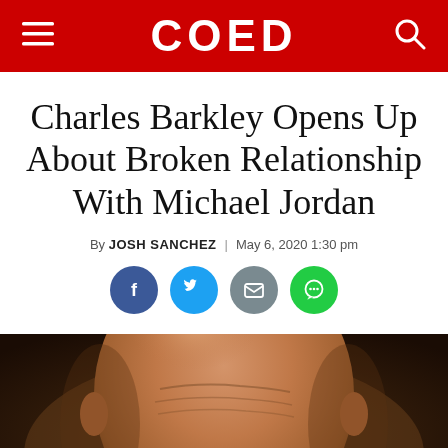COED
Charles Barkley Opens Up About Broken Relationship With Michael Jordan
By JOSH SANCHEZ | May 6, 2020 1:30 pm
[Figure (infographic): Four social sharing icon buttons: Facebook (blue circle), Twitter (light blue circle), Email (grey circle), Message (green circle)]
[Figure (photo): Close-up photograph of Charles Barkley's bald head and upper face, showing forehead wrinkles and eyebrows, warm brown skin tones against a dark background]